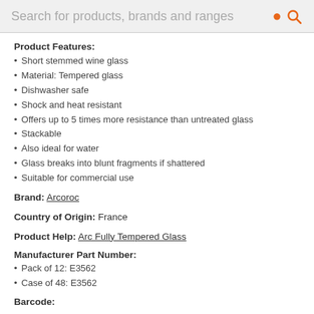Search for products, brands and ranges
Product Features:
Short stemmed wine glass
Material: Tempered glass
Dishwasher safe
Shock and heat resistant
Offers up to 5 times more resistance than untreated glass
Stackable
Also ideal for water
Glass breaks into blunt fragments if shattered
Suitable for commercial use
Brand: Arcoroc
Country of Origin: France
Product Help: Arc Fully Tempered Glass
Manufacturer Part Number:
Pack of 12: E3562
Case of 48: E3562
Barcode: